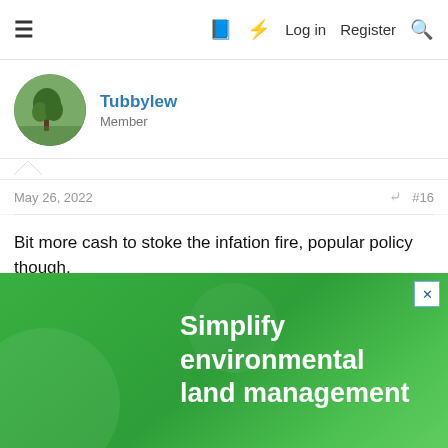≡  Log in  Register
Tubbylew
Member
May 26, 2022  #16
Bit more cash to stoke the infation fire, popular policy though.
Ho hum
↩ Reply
S J H, toquark and alex04w
[Figure (infographic): Green advertisement banner reading: Simplify environmental land management]